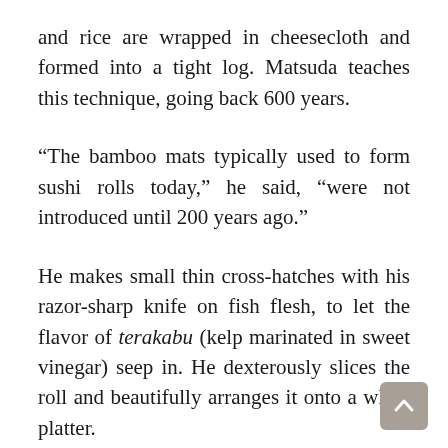and rice are wrapped in cheesecloth and formed into a tight log. Matsuda teaches this technique, going back 600 years.
“The bamboo mats typically used to form sushi rolls today,” he said, “were not introduced until 200 years ago.”
He makes small thin cross-hatches with his razor-sharp knife on fish flesh, to let the flavor of terakabu (kelp marinated in sweet vinegar) seep in. He dexterously slices the roll and beautifully arranges it onto a white platter.
Consumers may not fully appreciate the nuances of sushi rice, but by the end of their